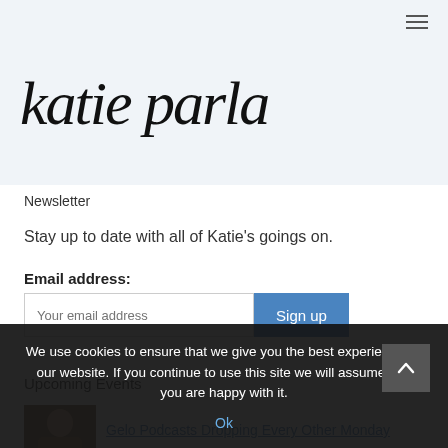katie parla
Newsletter
Stay up to date with all of Katie's goings on.
Email address:
[Figure (screenshot): Email input field with placeholder 'Your email address' and a blue 'Sign up' button]
Upcoming Events
[Figure (photo): Thumbnail photo of a person, partially visible]
Gelo Podcasts Dropping Every Other Monday
We use cookies to ensure that we give you the best experience on our website. If you continue to use this site we will assume that you are happy with it.
Ok